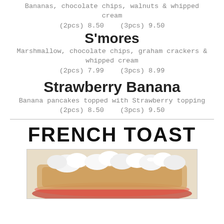Bananas, chocolate chips, walnuts & whipped cream
(2pcs) 8.50    (3pcs) 9.50
S'mores
Marshmallow, chocolate chips, graham crackers & whipped cream
(2pcs) 7.99    (3pcs) 8.99
Strawberry Banana
Banana pancakes topped with Strawberry topping
(2pcs) 8.50    (3pcs) 9.50
FRENCH TOAST
[Figure (photo): Photo of French toast topped with whipped cream]